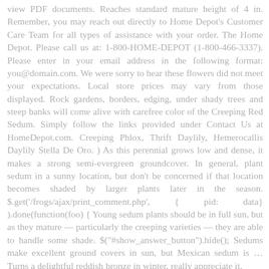view PDF documents. Reaches standard mature height of 4 in. Remember, you may reach out directly to Home Depot's Customer Care Team for all types of assistance with your order. The Home Depot. Please call us at: 1-800-HOME-DEPOT (1-800-466-3337). Please enter in your email address in the following format: you@domain.com. We were sorry to hear these flowers did not meet your expectations. Local store prices may vary from those displayed. Rock gardens, borders, edging, under shady trees and steep banks will come alive with carefree color of the Creeping Red Sedum. Simply follow the links provided under Contact Us at HomeDepot.com. Creeping Phlox, Thrift Daylily, Hemerocallis Daylily Stella De Oro. ) As this perennial grows low and dense, it makes a strong semi-evergreen groundcover. In general, plant sedum in a sunny location, but don't be concerned if that location becomes shaded by larger plants later in the season. $.get('/frogs/ajax/print_comment.php', { pid: data} ).done(function(foo) { Young sedum plants should be in full sun, but as they mature — particularly the creeping varieties — they are able to handle some shade. $("#show_answer_button").hide(); Sedums make excellent ground covers in sun, but Mexican sedum is ... Turns a delightful reddish bronze in winter. really appreciate it.